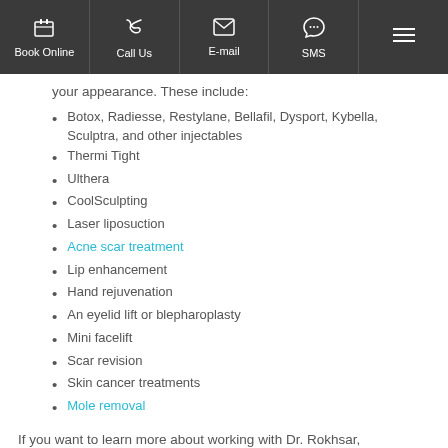Book Online | Call Us | E-mail | SMS | Menu
your appearance. These include:
Botox, Radiesse, Restylane, Bellafil, Dysport, Kybella, Sculptra, and other injectables
Thermi Tight
Ulthera
CoolSculpting
Laser liposuction
Acne scar treatment
Lip enhancement
Hand rejuvenation
An eyelid lift or blepharoplasty
Mini facelift
Scar revision
Skin cancer treatments
Mole removal
If you want to learn more about working with Dr. Rokhsar,